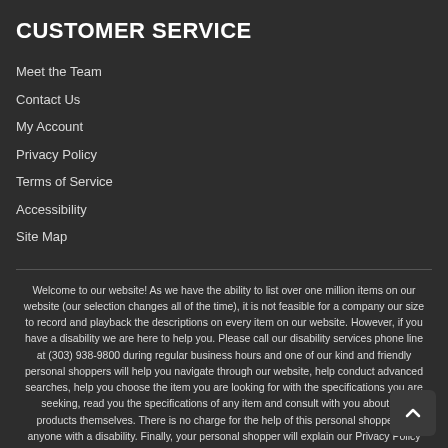CUSTOMER SERVICE
Meet the Team
Contact Us
My Account
Privacy Policy
Terms of Service
Accessibility
Site Map
Welcome to our website! As we have the ability to list over one million items on our website (our selection changes all of the time), it is not feasible for a company our size to record and playback the descriptions on every item on our website. However, if you have a disability we are here to help you. Please call our disability services phone line at (303) 938-9800 during regular business hours and one of our kind and friendly personal shoppers will help you navigate through our website, help conduct advanced searches, help you choose the item you are looking for with the specifications you are seeking, read you the specifications of any item and consult with you about the products themselves. There is no charge for the help of this personal shopper for anyone with a disability. Finally, your personal shopper will explain our Privacy Policy and Terms of Service, and help you place an order if you so desire.